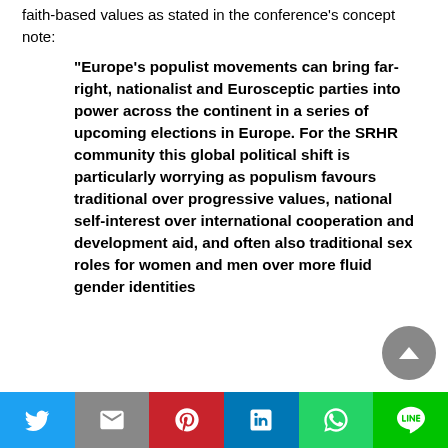faith-based values as stated in the conference's concept note:
“Europe’s populist movements can bring far-right, nationalist and Eurosceptic parties into power across the continent in a series of upcoming elections in Europe. For the SRHR community this global political shift is particularly worrying as populism favours traditional over progressive values, national self-interest over international cooperation and development aid, and often also traditional sex roles for women and men over more fluid gender identities
Twitter | Gmail | Pinterest | LinkedIn | WhatsApp | Line